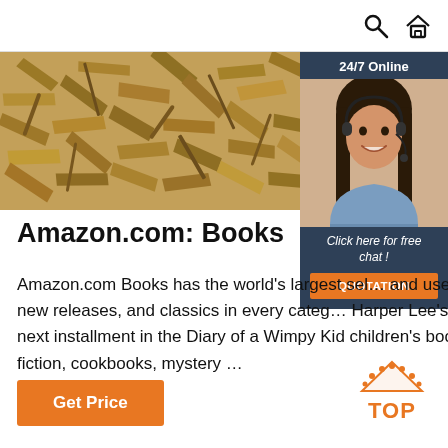[Figure (screenshot): Top navigation bar with search (magnifying glass) and home icons on white background]
[Figure (photo): Hero image of oriented strand board (OSB wood chip panel) texture]
[Figure (photo): Sidebar widget with dark navy background showing '24/7 Online' header, photo of smiling woman with headset, 'Click here for free chat!' text, and orange QUOTATION button]
Amazon.com: Books
Amazon.com Books has the world's largest sel… and used titles to suit any reader's tastes. Find… books, new releases, and classics in every categ… Harper Lee's To Kill a Mockingbird to the lates… King or the next installment in the Diary of a Wimpy Kid children's book series. Whatever you are looking for: popular fiction, cookbooks, mystery ...
[Figure (logo): Orange dotted TOP button/logo in bottom right]
Get Price